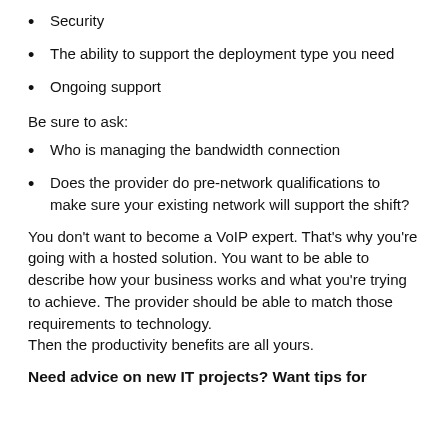Security
The ability to support the deployment type you need
Ongoing support
Be sure to ask:
Who is managing the bandwidth connection
Does the provider do pre-network qualifications to make sure your existing network will support the shift?
You don't want to become a VoIP expert. That's why you're going with a hosted solution. You want to be able to describe how your business works and what you're trying to achieve. The provider should be able to match those requirements to technology.
Then the productivity benefits are all yours.
Need advice on new IT projects? Want tips for